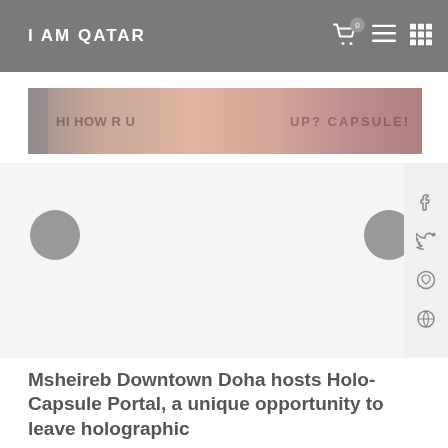I AM QATAR
[Figure (photo): Banner image with pinkish/salmon background showing partial text 'HI HOW R U... CAPSULE!']
[Figure (screenshot): Slider/image area with navigation arrow circles on left and right, and social media sidebar (Facebook, Twitter, WhatsApp, other icon) on the right edge]
Msheireb Downtown Doha hosts Holo-Capsule Portal, a unique opportunity to leave holographic